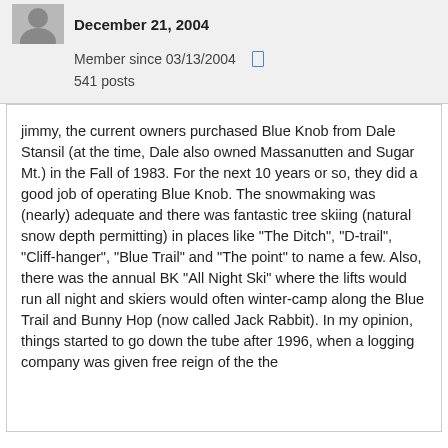December 21, 2004
Member since 03/13/2004
541 posts
jimmy, the current owners purchased Blue Knob from Dale Stansil (at the time, Dale also owned Massanutten and Sugar Mt.) in the Fall of 1983. For the next 10 years or so, they did a good job of operating Blue Knob. The snowmaking was (nearly) adequate and there was fantastic tree skiing (natural snow depth permitting) in places like "The Ditch", "D-trail", "Cliff-hanger", "Blue Trail" and "The point" to name a few. Also, there was the annual BK "All Night Ski" where the lifts would run all night and skiers would often winter-camp along the Blue Trail and Bunny Hop (now called Jack Rabbit). In my opinion, things started to go down the tube after 1996, when a logging company was given free reign of the the